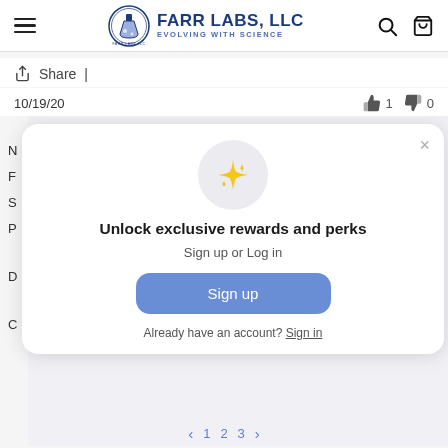[Figure (screenshot): Farr Labs LLC website navigation bar with hamburger menu, logo (circular badge with flask icon), brand name 'FARR LABS, LLC EVOLVING WITH SCIENCE', search icon, and cart icon]
Share |
10/19/20
[Figure (screenshot): Modal popup: sparkle/star emoji icon in gray circle, heading 'Unlock exclusive rewards and perks', subtext 'Sign up or Log in', blue 'Sign up' button, and 'Already have an account? Sign in' link. X close button in top right.]
Already have an account? Sign in
< 1 2 3 >